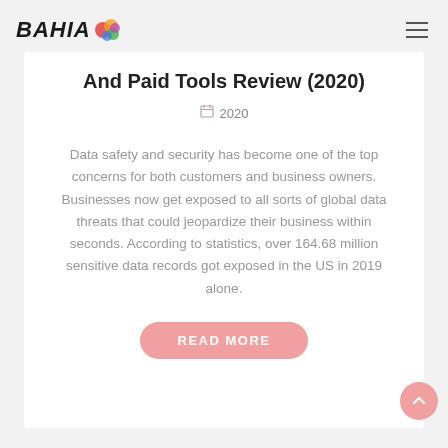BAHIA [logo] — navigation menu
And Paid Tools Review (2020)
2020
Data safety and security has become one of the top concerns for both customers and business owners. Businesses now get exposed to all sorts of global data threats that could jeopardize their business within seconds. According to statistics, over 164.68 million sensitive data records got exposed in the US in 2019 alone.
READ MORE